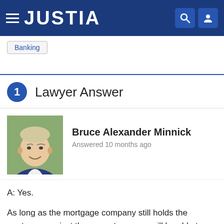JUSTIA
Banking
1 Lawyer Answer
[Figure (photo): Headshot photo of Bruce Alexander Minnick, an older man in a suit and tie, outdoors with green foliage in background]
Bruce Alexander Minnick
Answered 10 months ago
A: Yes.
As long as the mortgage company still holds the mortgage against the property no one will be able to sell